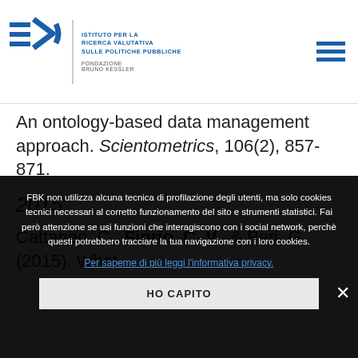[Figure (logo): Fondazione Bruno Kessler logo with FBK icon and text 'Istituto per la Ricerca Valutativa sulle Politiche Pubbliche']
An ontology-based data management approach. Scientometrics, 106(2), 857-871.
2015
Cattaneo, C., Fiorio, C. V., & Peri, G. (2015). What
FBK non utilizza alcuna tecnica di profilazione degli utenti, ma solo cookies tecnici necessari al corretto funzionamento del sito e strumenti statistici. Fai però attenzione se usi funzioni che interagiscono con i social network, perchè questi potrebbero tracciare la tua navigazione con i loro cookies.
Per saperne di più leggi l'informativa privacy.
HO CAPITO